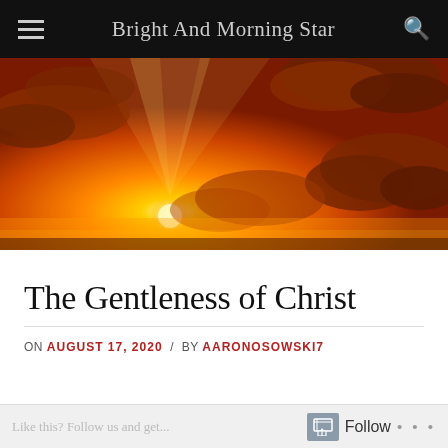Bright And Morning Star
[Figure (photo): Dramatic orange and red sunset sky with clouds and sun visible on the horizon, golden light rays spreading upward through dark storm clouds]
The Gentleness of Christ
ON AUGUST 17, 2020 / BY AARONOSOWSKI7
Follow ...